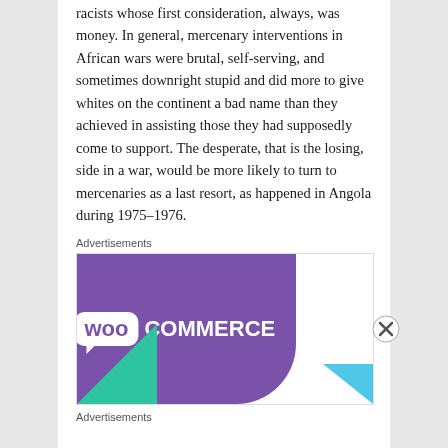racists whose first consideration, always, was money. In general, mercenary interventions in African wars were brutal, self-serving, and sometimes downright stupid and did more to give whites on the continent a bad name than they achieved in assisting those they had supposedly come to support. The desperate, that is the losing, side in a war, would be more likely to turn to mercenaries as a last resort, as happened in Angola during 1975–1976.
Advertisements
[Figure (other): WooCommerce advertisement banner with purple background, WooCommerce logo in white text, green triangle bottom-left, blue triangle bottom-right]
Advertisements